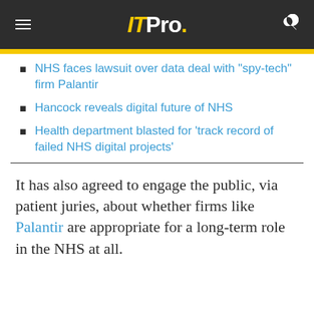ITPro.
NHS faces lawsuit over data deal with "spy-tech" firm Palantir
Hancock reveals digital future of NHS
Health department blasted for 'track record of failed NHS digital projects'
It has also agreed to engage the public, via patient juries, about whether firms like Palantir are appropriate for a long-term role in the NHS at all.